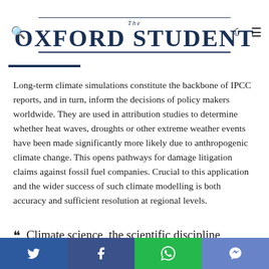The Oxford Student
Long-term climate simulations constitute the backbone of IPCC reports, and in turn, inform the decisions of policy makers worldwide. They are used in attribution studies to determine whether heat waves, droughts or other extreme weather events have been made significantly more likely due to anthropogenic climate change. This opens pathways for damage litigation claims against fossil fuel companies. Crucial to this application and the wider success of such climate modelling is both accuracy and sufficient resolution at regional levels.
““ Climate science, the scientific discipline